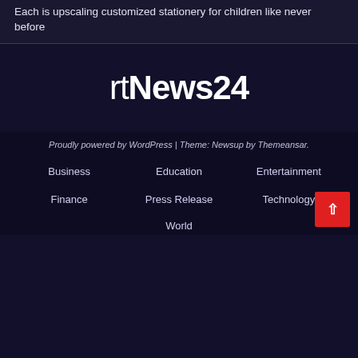Each is upscaling customized stationery for children like never before
[Figure (logo): rtNews24 logo in white bold text on dark navy background]
Proudly powered by WordPress | Theme: Newsup by Themeansar.
Business
Education
Entertainment
Finance
Press Release
Technology
World